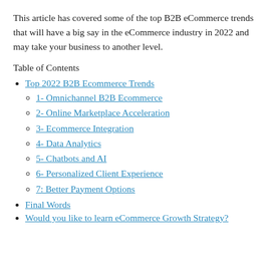This article has covered some of the top B2B eCommerce trends that will have a big say in the eCommerce industry in 2022 and may take your business to another level.
Table of Contents
Top 2022 B2B Ecommerce Trends
1- Omnichannel B2B Ecommerce
2- Online Marketplace Acceleration
3- Ecommerce Integration
4- Data Analytics
5- Chatbots and AI
6- Personalized Client Experience
7: Better Payment Options
Final Words
Would you like to learn eCommerce Growth Strategy?